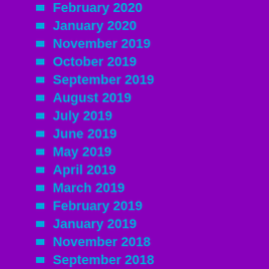February 2020
January 2020
November 2019
October 2019
September 2019
August 2019
July 2019
June 2019
May 2019
April 2019
March 2019
February 2019
January 2019
November 2018
September 2018
August 2018
June 2018
May 2018
March 2018
January 2018
December 2017
November 2017